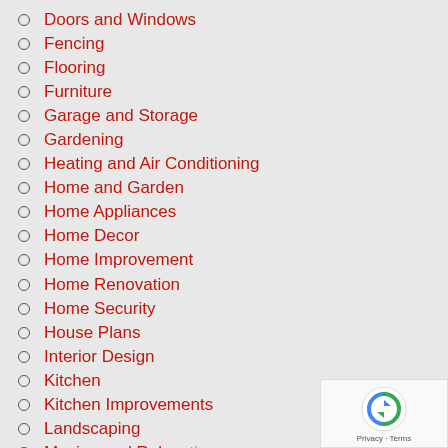Doors and Windows
Fencing
Flooring
Furniture
Garage and Storage
Gardening
Heating and Air Conditioning
Home and Garden
Home Appliances
Home Decor
Home Improvement
Home Renovation
Home Security
House Plans
Interior Design
Kitchen
Kitchen Improvements
Landscaping
Moving and Relocation